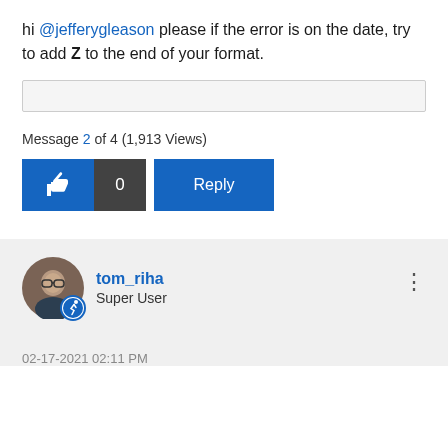hi @jefferygleason please if the error is on the date, try to add Z to the end of your format.
[Figure (other): Empty input/text box area]
Message 2 of 4 (1,913 Views)
[Figure (other): Like button (thumbs up icon) with count 0, and a Reply button]
[Figure (other): User avatar photo of a person with glasses]
tom_riha Super User
02-17-2021 02:11 PM